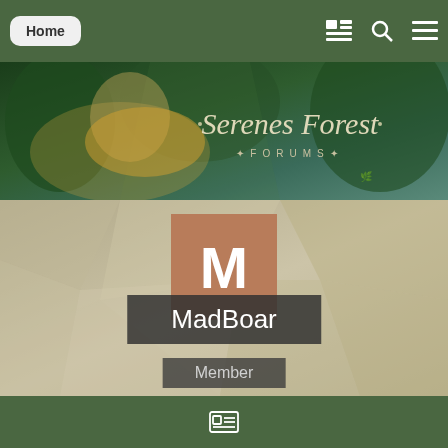Home
[Figure (illustration): Serenes Forest Forums banner with anime-style blonde female character and forest background]
[Figure (screenshot): User profile card with bronze M avatar, username MadBoar, role Member, on geometric polygon beige background]
CONTENT COUNT
37
JOINED
April 3